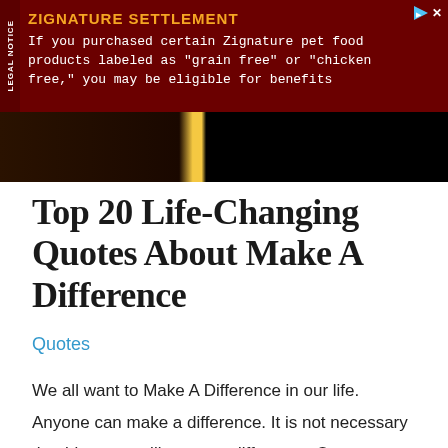[Figure (other): Advertisement banner for Zignature Settlement. Dark red background with 'LEGAL NOTICE' text on left side. Yellow/orange title 'ZIGNATURE SETTLEMENT' and white body text about pet food products.]
[Figure (photo): Partially visible dark image with a person silhouette and a yellow vertical stripe, possibly a candle or light source. Dark/black background on the right side.]
Top 20 Life-Changing Quotes About Make A Difference
Quotes
We all want to Make A Difference in our life. Anyone can make a difference. It is not necessary that big steps will create a difference. One can take small steps and create a huge difference for anybody. Here are the best quotes about Make A